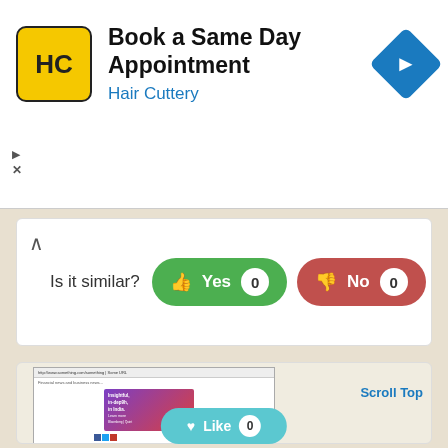[Figure (screenshot): Hair Cuttery advertisement banner: logo (HC in yellow circle), title 'Book a Same Day Appointment', subtitle 'Hair Cuttery', blue diamond arrow icon on right]
Is it similar?
[Figure (screenshot): Yes/No voting buttons: green 'Yes 0' button and red 'No 0' button]
[Figure (screenshot): Website screenshot showing Bloomberg Quint ad ('Insightful, in-depth, in India. Learn more'), Follow Us section, Top News section with Union Budget Watch and Budget Politics headlines, siteprice.org watermark, and 'Scroll Top' text]
[Figure (screenshot): Like button with heart icon showing count 0]